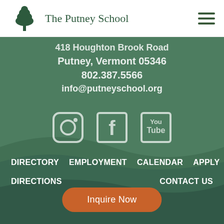The Putney School
418 Houghton Brook Road
Putney, Vermont 05346
802.387.5566
info@putneyschool.org
[Figure (other): Social media icons: Instagram, Facebook, YouTube]
DIRECTORY
EMPLOYMENT
CALENDAR
APPLY
DIRECTIONS
CONTACT US
Inquire Now